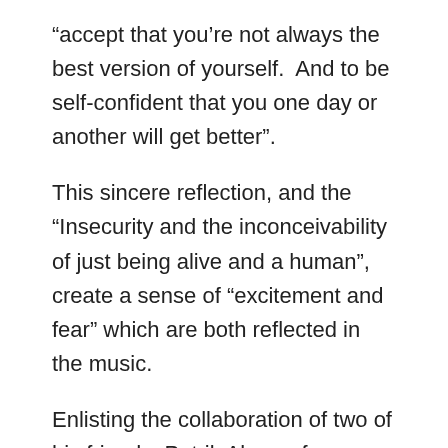“accept that you’re not always the best version of yourself.  And to be self-confident that you one day or another will get better”.
This sincere reflection, and the “Insecurity and the inconceivability of just being alive and a human”, create a sense of “excitement and fear” which are both reflected in the music.
Enlisting the collaboration of two of his friends, Patrik Alsparr for assistance with the song’s lyrics and Joel Werner for help with the production, the track was mostly